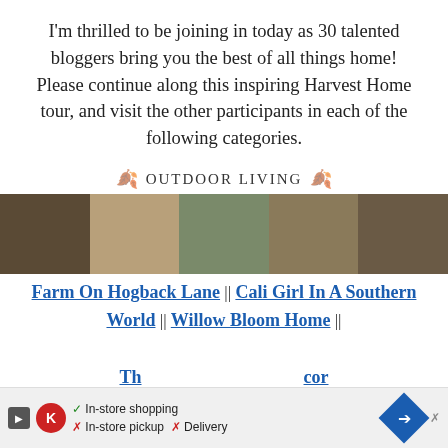I'm thrilled to be joining in today as 30 talented bloggers bring you the best of all things home! Please continue along this inspiring Harvest Home tour, and visit the other participants in each of the following categories.
Outdoor Living
[Figure (photo): Five outdoor living photos side by side showing fall home decor: dark door with wreaths, porch seating with throw, blue door with wreath and planter, outdoor patio with fall colors, and covered outdoor dining area]
Farm On Hogback Lane || Cali Girl In A Southern World || Willow Bloom Home ||
Th...cor (partially visible footer link)